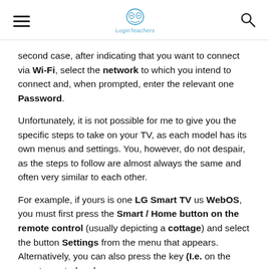LoginTeachers
second case, after indicating that you want to connect via Wi-Fi, select the network to which you intend to connect and, when prompted, enter the relevant one Password.
Unfortunately, it is not possible for me to give you the specific steps to take on your TV, as each model has its own menus and settings. You, however, do not despair, as the steps to follow are almost always the same and often very similar to each other.
For example, if yours is one LG Smart TV us WebOS, you must first press the Smart / Home button on the remote control (usually depicting a cottage) and select the button Settings from the menu that appears. Alternatively, you can also press the key (I.e. on the remote control and